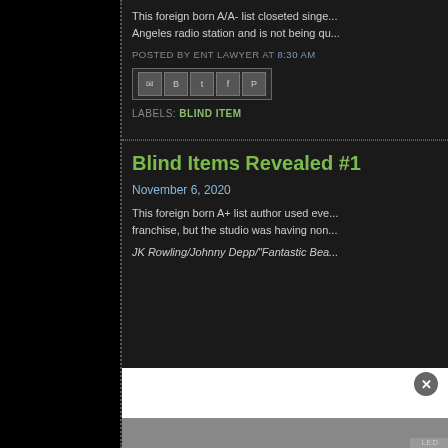This foreign born A/A- list closeted singer ... Los Angeles radio station and is not being qu...
POSTED BY ENT LAWYER AT 8:30 AM
[Figure (other): Social sharing icons: email, Blogger, Twitter, Facebook, Pinterest]
LABELS: BLIND ITEM
Blind Items Revealed #1
November 6, 2020
This foreign born A+ list author used eve... franchise, but the studio was having non...
JK Rowling/Johnny Depp/"Fantastic Bea...
POSTED BY ENT LAWYER AT 8:15 AM